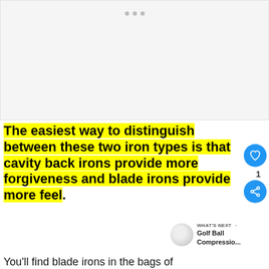[Figure (other): Advertisement placeholder box with three gray dots at top center]
The easiest way to distinguish between these two iron types is that cavity back irons provide more forgiveness and blade irons provide more feel.
You'll find blade irons in the bags of